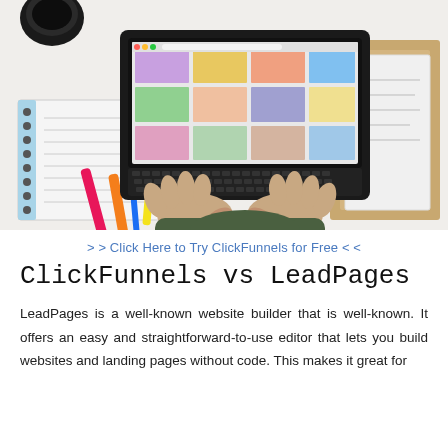[Figure (photo): Overhead view of a person typing on a black laptop computer, surrounded by colorful pens, a spiral notebook, books, and a coffee cup on a white desk surface.]
> > Click Here to Try ClickFunnels for Free < <
ClickFunnels vs LeadPages
LeadPages is a well-known website builder that is well-known. It offers an easy and straightforward-to-use editor that lets you build websites and landing pages without code. This makes it great for